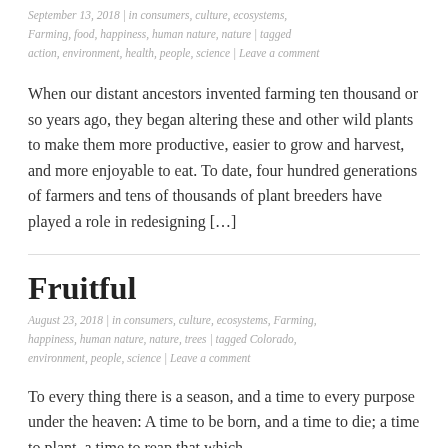September 13, 2018 | in consumers, culture, ecosystems, Farming, food, happiness, human nature, nature | tagged action, environment, health, people, science | Leave a comment
When our distant ancestors invented farming ten thousand or so years ago, they began altering these and other wild plants to make them more productive, easier to grow and harvest, and more enjoyable to eat. To date, four hundred generations of farmers and tens of thousands of plant breeders have played a role in redesigning […]
Fruitful
August 23, 2018 | in consumers, culture, ecosystems, Farming, happiness, human nature, nature, trees | tagged Colorado, environment, people, science | Leave a comment
To every thing there is a season, and a time to every purpose under the heaven: A time to be born, and a time to die; a time to plant, a time to reap that which